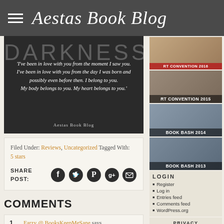Aestas Book Blog
[Figure (photo): Dark book cover image with 'DARKNESS' text and an italic quote: 'I've been in love with you from the moment I saw you. I've been in love with you from the day I was born and possibly even before then. I belong to you. My body belongs to you. My heart belongs to you.' — Aestas Book Blog]
Filed Under: Reviews, Uncategorized Tagged With: 5 stars
SHARE POST: [Facebook] [Twitter] [Pinterest] [Google+] [Email]
COMMENTS
1. Farzy @ BooksKeepMeSane says
[Figure (photo): RT CONVENTION 2016 sidebar image]
[Figure (photo): RT CONVENTION 2015 sidebar image]
[Figure (photo): BOOK BASH 2014 sidebar image]
[Figure (photo): BOOK BASH 2013 sidebar image]
LOGIN
Register
Log in
Entries feed
Comments feed
WordPress.org
PRIVACY POLICY
Click here to read our Privacy Policy